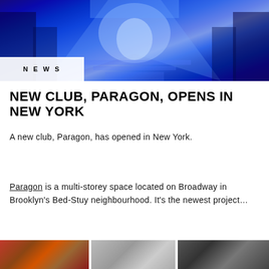[Figure (photo): Interior of Paragon club with blue neon lighting illuminating a multi-storey space with stairs and architectural columns]
NEWS
NEW CLUB, PARAGON, OPENS IN NEW YORK
A new club, Paragon, has opened in New York.
Paragon is a multi-storey space located on Broadway in Brooklyn's Bed-Stuy neighbourhood. It's the newest project…
[Figure (photo): Three thumbnail images at the bottom of the page]
[Figure (photo): Middle thumbnail image]
[Figure (photo): Right thumbnail image]